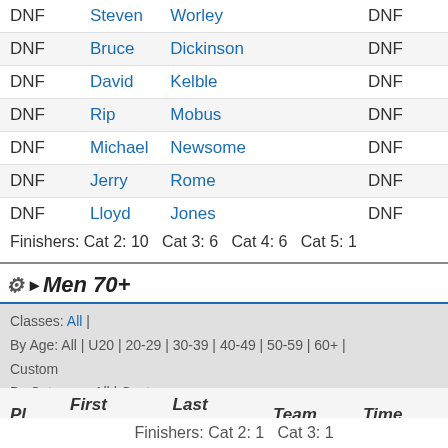| Pl | First Name | Last Name | Team | Time |
| --- | --- | --- | --- | --- |
| DNF | Steven | Worley |  | DNF |
| DNF | Bruce | Dickinson |  | DNF |
| DNF | David | Kelble |  | DNF |
| DNF | Rip | Mobus |  | DNF |
| DNF | Michael | Newsome |  | DNF |
| DNF | Jerry | Rome |  | DNF |
| DNF | Lloyd | Jones |  | DNF |
Finishers: Cat 2: 10  Cat 3: 6  Cat 4: 6  Cat 5: 1
Men 70+
Classes: All | By Age: All | U20 | 20-29 | 30-39 | 40-49 | 50-59 | 60+ | Custom By Category: All | Custom
| Pl | First Name | Last Name | Team | Time |
| --- | --- | --- | --- | --- |
| 1 | Lawrence | Bosch |  | 2:10:56 |
| 2 | Donald | Haywood |  | 2:17:38 |
Finishers: Cat 2: 1  Cat 3: 1